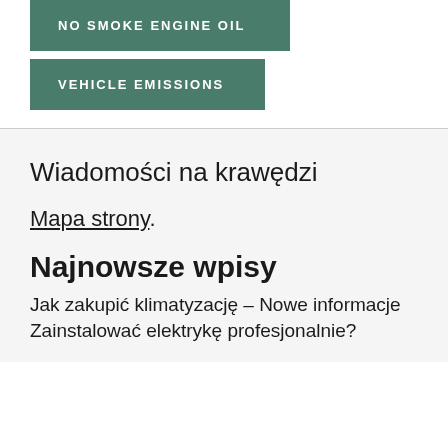NO SMOKE ENGINE OIL
VEHICLE EMISSIONS
Wiadomości na krawędzi
Mapa strony.
Najnowsze wpisy
Jak zakupić klimatyzację – Nowe informacje
Zainstalować elektrykę profesjonalnie?